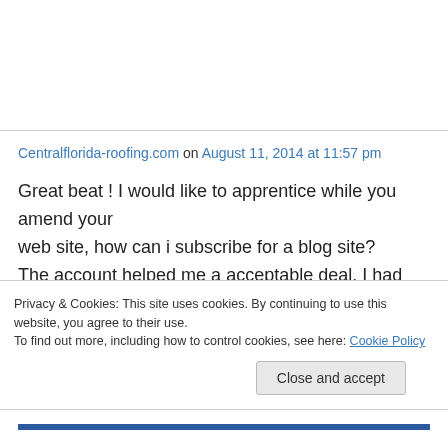Centralflorida-roofing.com on August 11, 2014 at 11:57 pm
Great beat ! I would like to apprentice while you amend your web site, how can i subscribe for a blog site? The account helped me a acceptable deal. I had been a little bit
Privacy & Cookies: This site uses cookies. By continuing to use this website, you agree to their use. To find out more, including how to control cookies, see here: Cookie Policy